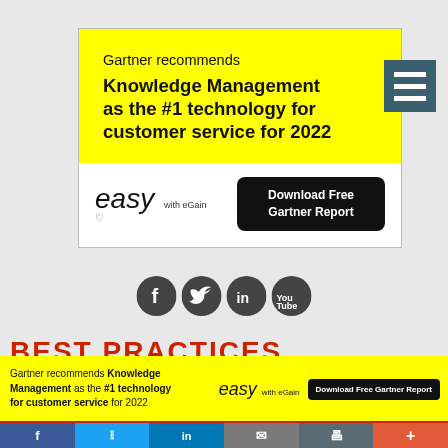[Figure (infographic): Advertisement: yellow top section with Gartner recommends Knowledge Management as the #1 technology for customer service for 2022. White bottom section with 'easy with eGain' logo and Download Free Gartner Report button.]
[Figure (infographic): Hamburger menu icon (three horizontal white bars on dark teal background)]
[Figure (infographic): Social media icons row: Facebook, Twitter, LinkedIn, YouTube (dark circles)]
BEST PRACTICES
[Figure (infographic): Bottom banner ad repeating the Gartner Knowledge Management message with easy with eGain logo and Download Free Gartner Report button]
[Figure (infographic): Social share bar with f, Twitter, in, mail, print, plus icons]